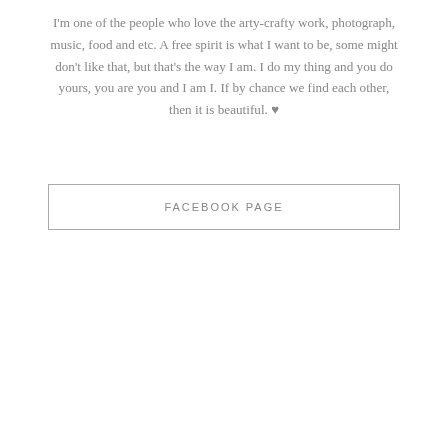I'm one of the people who love the arty-crafty work, photograph, music, food and etc. A free spirit is what I want to be, some might don't like that, but that's the way I am. I do my thing and you do yours, you are you and I am I. If by chance we find each other, then it is beautiful. ♥
FACEBOOK PAGE